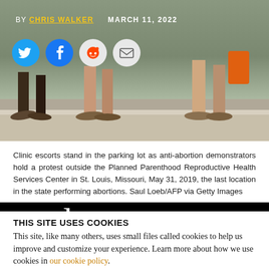[Figure (photo): Photo of clinic escorts standing in parking lot, feet visible near curb]
BY CHRIS WALKER   MARCH 11, 2022
Clinic escorts stand in the parking lot as anti-abortion demonstrators hold a protest outside the Planned Parenthood Reproductive Health Services Center in St. Louis, Missouri, May 31, 2019, the last location in the state performing abortions. Saul Loeb/AFP via Getty Images
[Figure (logo): Truthout logo on black background, partial view showing large white serif letters 'truthout']
THIS SITE USES COOKIES
This site, like many others, uses small files called cookies to help us improve and customize your experience. Learn more about how we use cookies in our cookie policy.
Learn more about cookies   OK